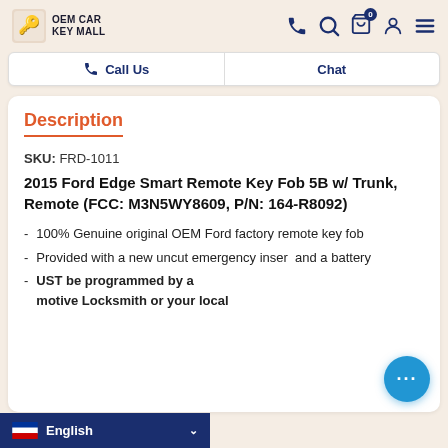OEM CAR KEY MALL
Call Us   Chat
Description
SKU: FRD-1011
2015 Ford Edge Smart Remote Key Fob 5B w/ Trunk, Remote (FCC: M3N5WY8609, P/N: 164-R8092)
100% Genuine original OEM Ford factory remote key fob
Provided with a new uncut emergency insert and a battery
MUST be programmed by a motive Locksmith or your local